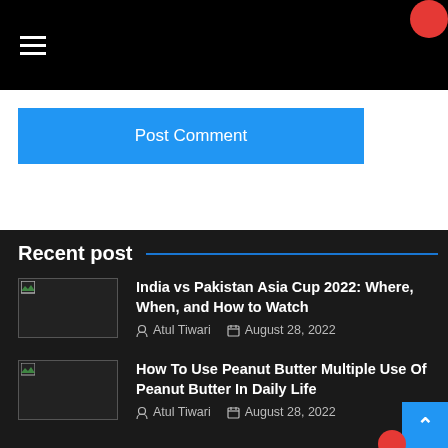Navigation bar with hamburger menu
Post Comment
Recent post
India vs Pakistan Asia Cup 2022: Where, When, and How to Watch — Atul Tiwari — August 28, 2022
How To Use Peanut Butter Multiple Use Of Peanut Butter In Daily Life — Atul Tiwari — August 28, 2022